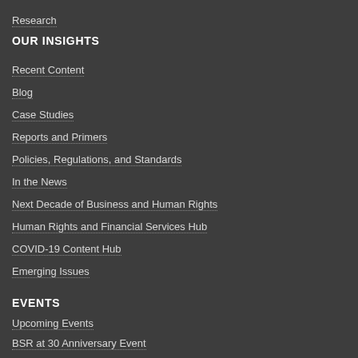Research
OUR INSIGHTS
Recent Content
Blog
Case Studies
Reports and Primers
Policies, Regulations, and Standards
In the News
Next Decade of Business and Human Rights
Human Rights and Financial Services Hub
COVID-19 Content Hub
Emerging Issues
EVENTS
Upcoming Events
BSR at 30 Anniversary Event